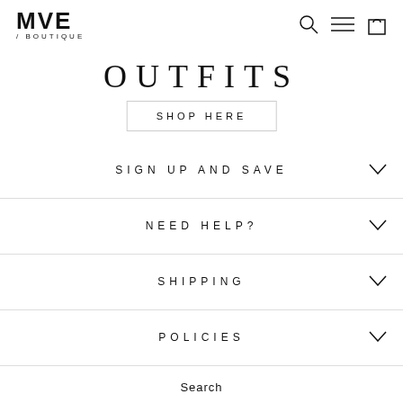MVE / BOUTIQUE
OUTFITS
SHOP HERE
SIGN UP AND SAVE
NEED HELP?
SHIPPING
POLICIES
Search